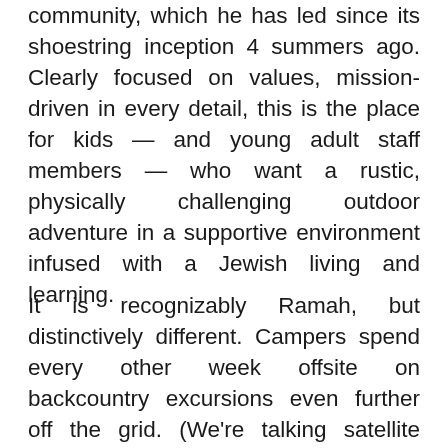community, which he has led since its shoestring inception 4 summers ago. Clearly focused on values, mission-driven in every detail, this is the place for kids — and young adult staff members — who want a rustic, physically challenging outdoor adventure in a supportive environment infused with a Jewish living and learning.
It is recognizably Ramah, but distinctively different. Campers spend every other week offsite on backcountry excursions even further off the grid. (We're talking satellite phone by a counselor on the backcountry trips.) When they